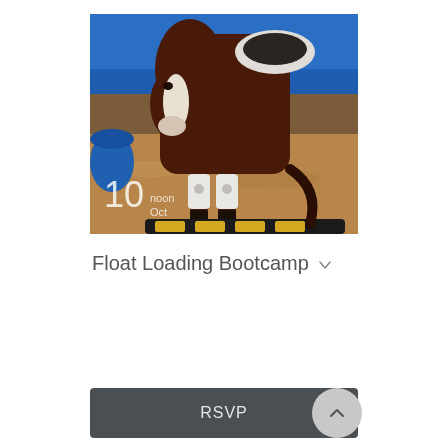[Figure (photo): A dark brown horse with white face markings wearing white leg wraps and a saddle pad, stepping onto a yellow and black obstacle/platform in an indoor arena with sand footing and a blue wall in the background. Date overlay shows '10 / noon / Oct' in the bottom-left corner of the photo.]
Float Loading Bootcamp
RSVP